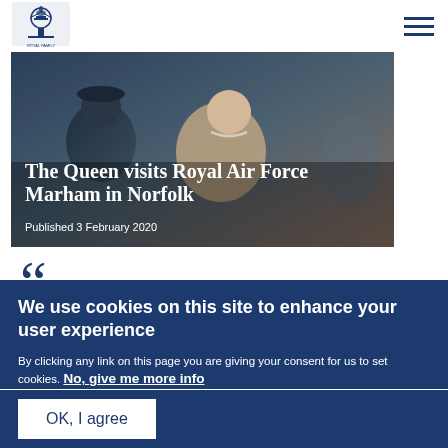Royal Family website header with royal crest logo and hamburger menu
[Figure (photo): The Queen visits Royal Air Force Marham in Norfolk - hero image showing close-up of Queen and RAF uniform]
The Queen visits Royal Air Force Marham in Norfolk
Published 3 February 2020
““
We use cookies on this site to enhance your user experience
By clicking any link on this page you are giving your consent for us to set cookies. No, give me more info
OK, I agree